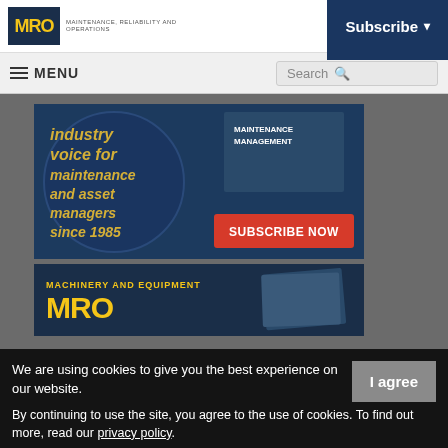MRO — MAINTENANCE, RELIABILITY AND OPERATIONS — Subscribe
≡ MENU  Search 🔍
[Figure (illustration): MRO Magazine subscription banner ad: 'industry voice for maintenance and asset managers since 1985 — SUBSCRIBE NOW' with dark blue background and industrial imagery]
[Figure (illustration): MRO Machinery and Equipment magazine banner ad with yellow MRO logo on dark blue background]
We are using cookies to give you the best experience on our website.
By continuing to use the site, you agree to the use of cookies. To find out more, read our privacy policy.
I agree